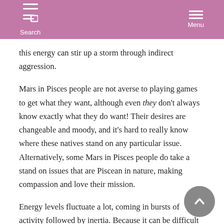Search  Menu
this energy can stir up a storm through indirect aggression.
Mars in Pisces people are not averse to playing games to get what they want, although even they don't always know exactly what they do want! Their desires are changeable and moody, and it's hard to really know where these natives stand on any particular issue. Alternatively, some Mars in Pisces people do take a stand on issues that are Piscean in nature, making compassion and love their mission.
Energy levels fluctuate a lot, coming in bursts of activity followed by inertia. Because it can be difficult to align this ebbing and flowing of energy in the day-to-day world as it is.